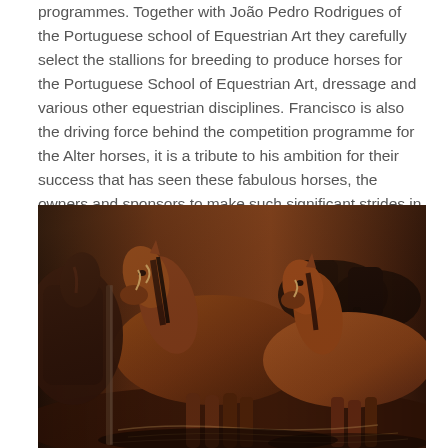programmes. Together with João Pedro Rodrigues of the Portuguese school of Equestrian Art they carefully select the stallions for breeding to produce horses for the Portuguese School of Equestrian Art, dressage and various other equestrian disciplines. Francisco is also the driving force behind the competition programme for the Alter horses, it is a tribute to his ambition for their success that has seen these fabulous horses, the owners and sponsors to make such significant strides in the evolution of the breed.
[Figure (photo): A group of brown horses with dark manes crowded together in what appears to be a stable or pen environment, photographed in warm, dim lighting. The horses are wearing halters and face various directions.]